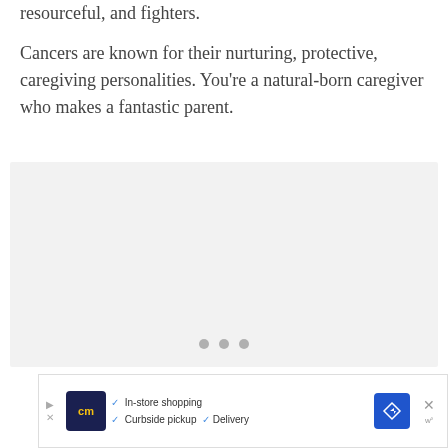resourceful, and fighters.
Cancers are known for their nurturing, protective, caregiving personalities. You're a natural-born caregiver who makes a fantastic parent.
[Figure (other): Gray placeholder box with three dots indicating loading content]
[Figure (other): Advertisement banner for CM (Casey's/store) showing in-store shopping, curbside pickup, and delivery options with navigation icon and close button]